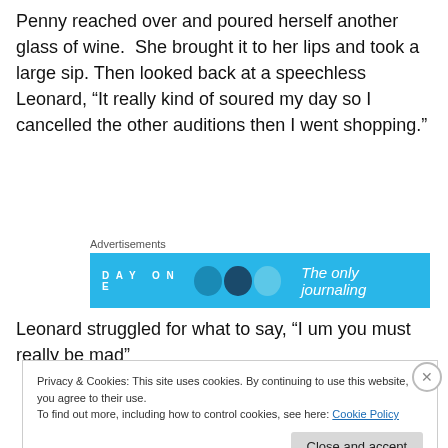Penny reached over and poured herself another glass of wine.  She brought it to her lips and took a large sip. Then looked back at a speechless Leonard, “It really kind of soured my day so I cancelled the other auditions then I went shopping.”
[Figure (other): Advertisement banner for DAY ONE journaling app with blue background showing app icons and tagline 'The only journaling']
Leonard struggled for what to say, “I um you must really be mad”
Privacy & Cookies: This site uses cookies. By continuing to use this website, you agree to their use.
To find out more, including how to control cookies, see here: Cookie Policy
Close and accept